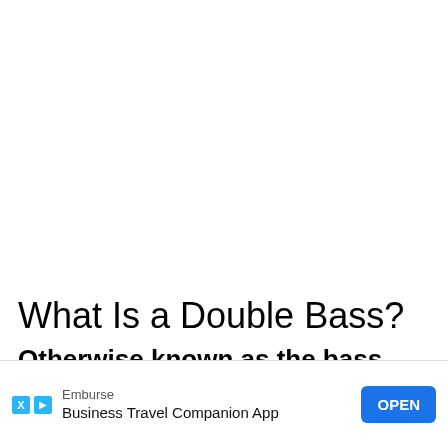What Is a Double Bass?
Otherwise known as the bass, the double bass is the largest and lowest-pitched bowed...